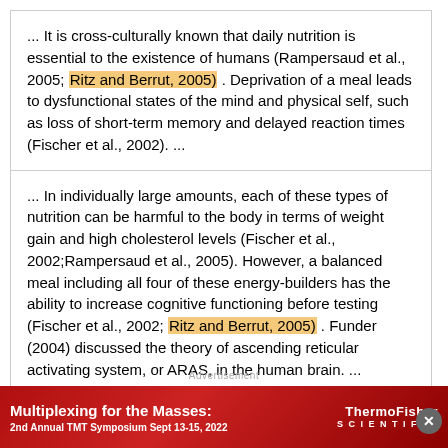... It is cross-culturally known that daily nutrition is essential to the existence of humans (Rampersaud et al., 2005; Ritz and Berrut, 2005) . Deprivation of a meal leads to dysfunctional states of the mind and physical self, such as loss of short-term memory and delayed reaction times (Fischer et al., 2002). ...
... In individually large amounts, each of these types of nutrition can be harmful to the body in terms of weight gain and high cholesterol levels (Fischer et al., 2002;Rampersaud et al., 2005). However, a balanced meal including all four of these energy-builders has the ability to increase cognitive functioning before testing (Fischer et al., 2002; Ritz and Berrut, 2005) . Funder (2004) discussed the theory of ascending reticular activating system, or ARAS, in the human brain. ...
... Nutrients are beneficial to both body and mind, and they are the energy that flows through our physical selves (Fischer et al., 2002). Blood flow and neural stimulation is circulated through the body to increase
[Figure (other): Advertisement banner: Multiplexing for the Masses: 2nd Annual TMT Symposium Sept 13-15, 2022 — ThermoFisher Scientific, red background with microscopy imagery]